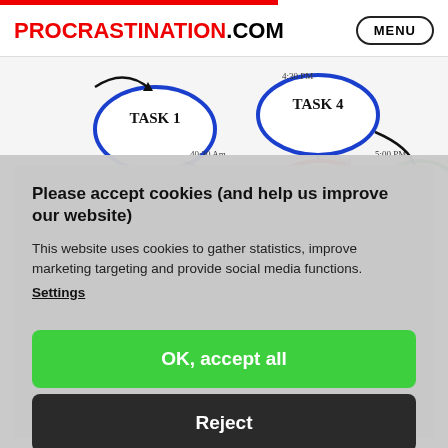PROCRASTINATION.COM  MENU
[Figure (illustration): Handwritten task flow diagram showing TASK 1 (blue circle), TASK 4 (blue circle), TASK 5 (red circle), and TASK 6 (green circle) connected by arrows with handwritten times: 40:30 AM, 42:00 PM, 4:30 PM, 2:30 PM, 5:00 PM]
Please accept cookies (and help us improve our website)
This website uses cookies to gather statistics, improve marketing targeting and provide social media functions.
Settings
OK, accept all
Reject